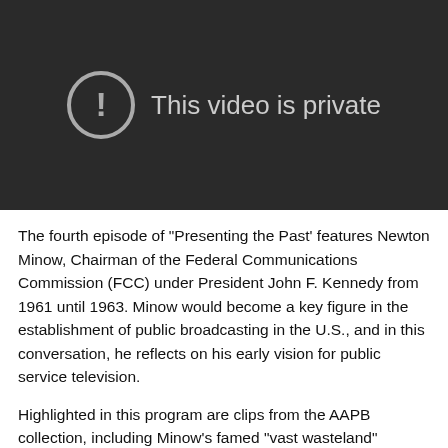[Figure (screenshot): Video player showing 'This video is private' message with exclamation mark icon on dark background]
The fourth episode of "Presenting the Past' features Newton Minow, Chairman of the Federal Communications Commission (FCC) under President John F. Kennedy from 1961 until 1963. Minow would become a key figure in the establishment of public broadcasting in the U.S., and in this conversation, he reflects on his early vision for public service television.
Highlighted in this program are clips from the AAPB collection, including Minow's famed "vast wasteland" speech to the National Association of Broadcasters in 1961, his lesser known address to the same organization the following year, as well as a panel discussion